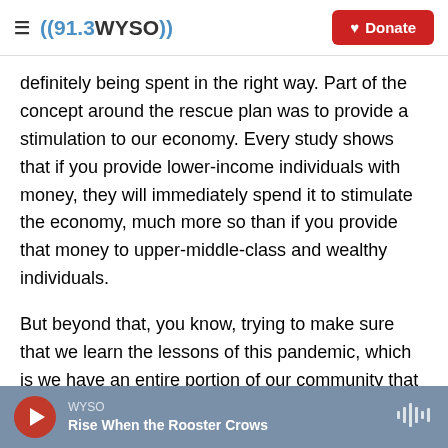((91.3 WYSO)) | Donate
definitely being spent in the right way. Part of the concept around the rescue plan was to provide a stimulation to our economy. Every study shows that if you provide lower-income individuals with money, they will immediately spend it to stimulate the economy, much more so than if you provide that money to upper-middle-class and wealthy individuals.
But beyond that, you know, trying to make sure that we learn the lessons of this pandemic, which is we have an entire portion of our community that was so vulnerable to a shock, and we have an
WYSO — Rise When the Rooster Crows